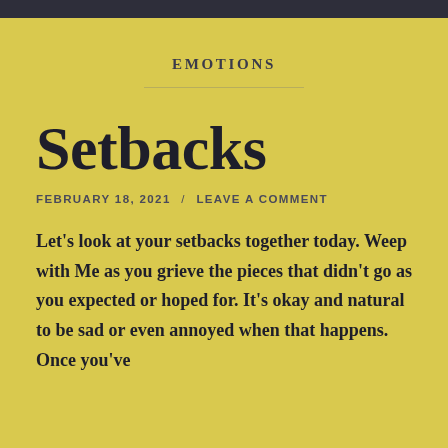EMOTIONS
Setbacks
FEBRUARY 18, 2021  /  LEAVE A COMMENT
Let’s look at your setbacks together today. Weep with Me as you grieve the pieces that didn’t go as you expected or hoped for. It’s okay and natural to be sad or even annoyed when that happens. Once you’ve